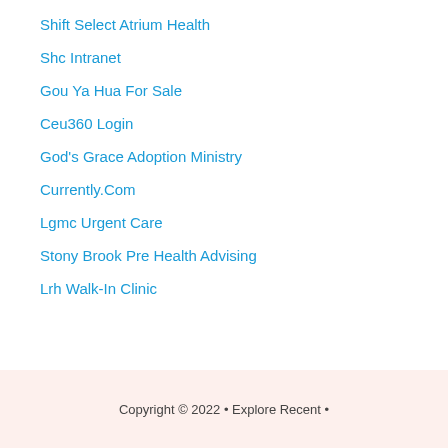Shift Select Atrium Health
Shc Intranet
Gou Ya Hua For Sale
Ceu360 Login
God's Grace Adoption Ministry
Currently.Com
Lgmc Urgent Care
Stony Brook Pre Health Advising
Lrh Walk-In Clinic
Copyright © 2022 • Explore Recent •